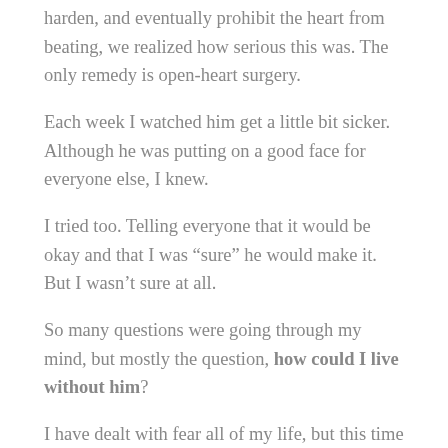harden, and eventually prohibit the heart from beating, we realized how serious this was. The only remedy is open-heart surgery.
Each week I watched him get a little bit sicker. Although he was putting on a good face for everyone else, I knew.
I tried too. Telling everyone that it would be okay and that I was “sure” he would make it. But I wasn’t sure at all.
So many questions were going through my mind, but mostly the question, how could I live without him?
I have dealt with fear all of my life, but this time it was different. This time it brought waves of emotion and sadness through me for weeks. Each time I had to practice being present with the fear. Rather than wanting to push it away, pretend I wasn’t afraid, or letting it consume me. I tried to get present to what was “real” in the moment,